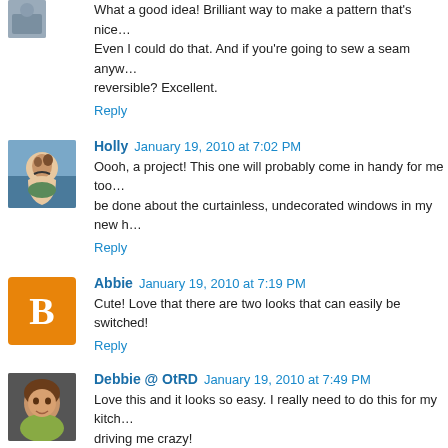What a good idea! Brilliant way to make a pattern that's nice… Even I could do that. And if you're going to sew a seam anyw… reversible? Excellent.
Reply
Holly  January 19, 2010 at 7:02 PM
Oooh, a project! This one will probably come in handy for me too… be done about the curtainless, undecorated windows in my new h…
Reply
Abbie  January 19, 2010 at 7:19 PM
Cute! Love that there are two looks that can easily be switched!
Reply
Debbie @ OtRD  January 19, 2010 at 7:49 PM
Love this and it looks so easy. I really need to do this for my kitch… driving me crazy!
Reply